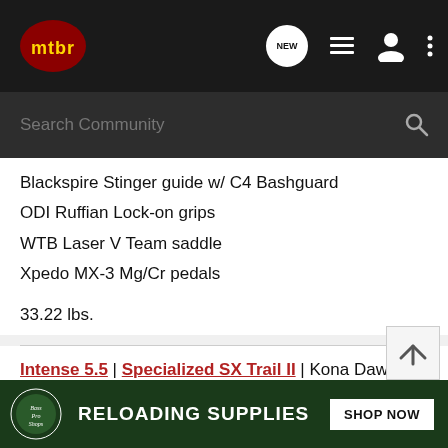mtbr navigation bar with search
Blackspire Stinger guide w/ C4 Bashguard
ODI Ruffian Lock-on grips
WTB Laser V Team saddle
Xpedo MX-3 Mg/Cr pedals
33.22 lbs.
Intense 5.5 | Specialized SX Trail II | Kona Dawg Primo